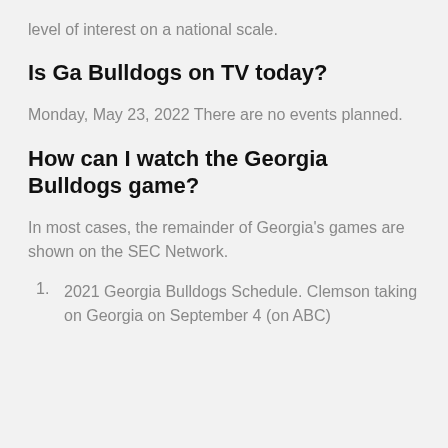level of interest on a national scale.
Is Ga Bulldogs on TV today?
Monday, May 23, 2022 There are no events planned.
How can I watch the Georgia Bulldogs game?
In most cases, the remainder of Georgia's games are shown on the SEC Network.
2021 Georgia Bulldogs Schedule. Clemson taking on Georgia on September 4 (on ABC)